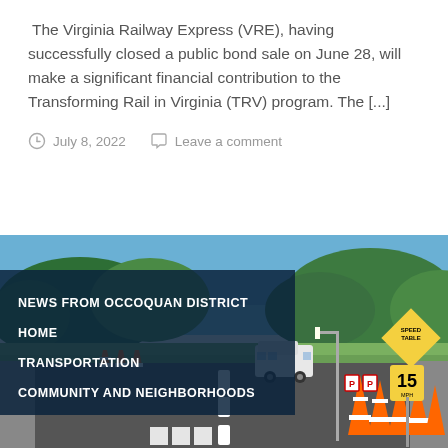The Virginia Railway Express (VRE), having successfully closed a public bond sale on June 28, will make a significant financial contribution to the Transforming Rail in Virginia (TRV) program. The [...]
July 8, 2022    Leave a comment
[Figure (photo): Street scene with orange traffic cones, a white van, trees, blue sky, and a yellow speed table sign and 15 MPH speed limit sign on the right side of the road. Navigation menu overlaid on left side.]